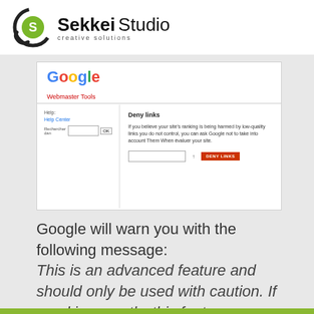[Figure (logo): Sekkei Studio logo with circular icon and text 'Sekkei Studio, creative solutions']
[Figure (screenshot): Screenshot of Google Webmaster Tools showing 'Deny links' panel with description text and a red DENY LINKS button]
Google will warn you with the following message:
This is an advanced feature and should only be used with caution. If used incorrectly, this feature can potentially harm your site's